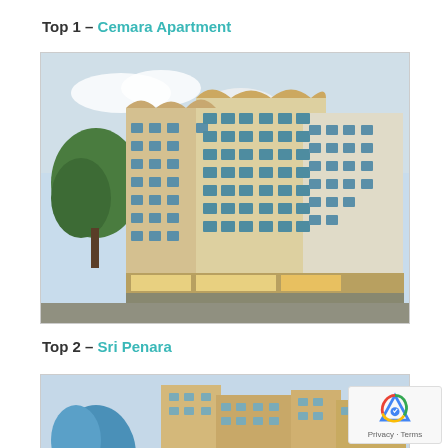Top 1 – Cemara Apartment
[Figure (photo): Exterior photo of Cemara Apartment, a tall multi-storey residential building with beige and white facade, multiple floors of windows, and shops at ground level. Trees visible on the left side.]
Top 2 – Sri Penara
[Figure (photo): Exterior photo of Sri Penara, a multi-storey residential building with beige/tan facade, partially visible at the bottom of the page.]